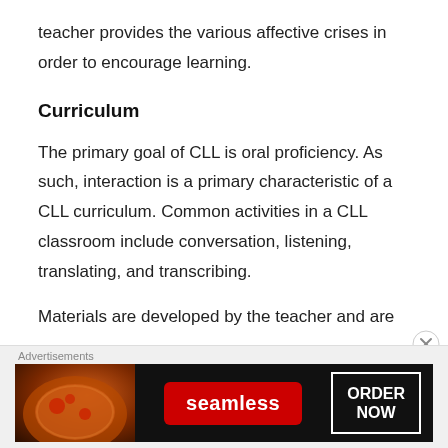teacher provides the various affective crises in order to encourage learning.
Curriculum
The primary goal of CLL is oral proficiency. As such, interaction is a primary characteristic of a CLL curriculum. Common activities in a CLL classroom include conversation, listening, translating, and transcribing.
Materials are developed by the teacher and are
[Figure (other): Seamless food delivery advertisement banner with pizza image, Seamless logo in red, and ORDER NOW button in white border box on dark background]
Advertisements